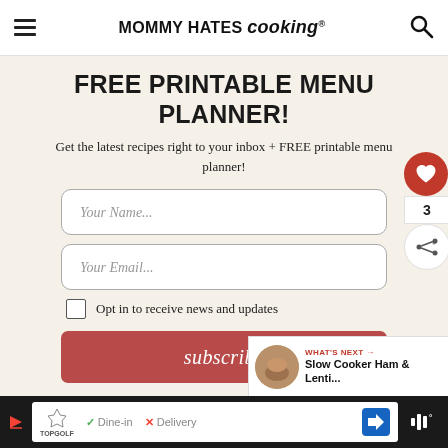MOMMY HATES cooking®
FREE PRINTABLE MENU PLANNER!
Get the latest recipes right to your inbox + FREE printable menu planner!
Your Name...
Your Email...
Opt in to receive news and updates
subscribe
[Figure (infographic): Floating social sidebar with heart icon showing 3 likes and a share button]
[Figure (infographic): What's Next widget showing Slow Cooker Ham & Lenti... with food thumbnail]
[Figure (infographic): Bottom advertisement bar: TopGolf ad with Dine-in and Delivery options, navigation icon, and mute button]